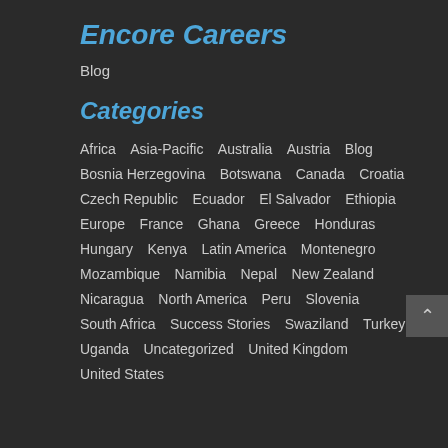Encore Careers
Blog
Categories
Africa
Asia-Pacific
Australia
Austria
Blog
Bosnia Herzegovina
Botswana
Canada
Croatia
Czech Republic
Ecuador
El Salvador
Ethiopia
Europe
France
Ghana
Greece
Honduras
Hungary
Kenya
Latin America
Montenegro
Mozambique
Namibia
Nepal
New Zealand
Nicaragua
North America
Peru
Slovenia
South Africa
Success Stories
Swaziland
Turkey
Uganda
Uncategorized
United Kingdom
United States